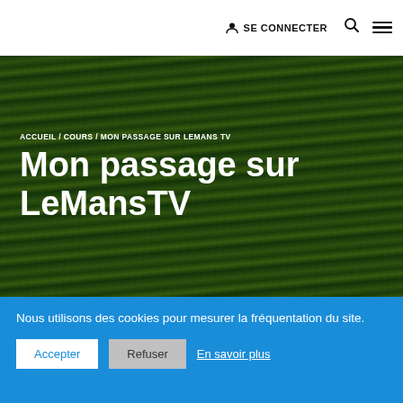SE CONNECTER
[Figure (screenshot): Hero background image of green wheat/grass field from above]
ACCUEIL / COURS / MON PASSAGE SUR LEMANS TV
Mon passage sur LeMansTV
Formateurs
Nous utilisons des cookies pour mesurer la fréquentation du site.
Accepter  Refuser  En savoir plus